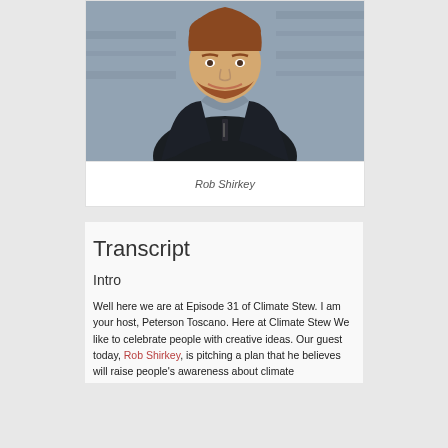[Figure (photo): Portrait photo of Rob Shirkey, a man with red beard wearing a dark jacket, standing outdoors in front of a blurred background]
Rob Shirkey
Transcript
Intro
Well here we are at Episode 31 of Climate Stew. I am your host, Peterson Toscano. Here at Climate Stew We like to celebrate people with creative ideas. Our guest today, Rob Shirkey, is pitching a plan that he believes will raise people's awareness about climate